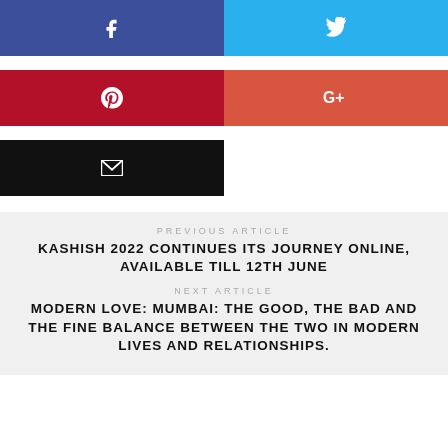[Figure (infographic): Social media share buttons: Facebook (dark blue), Twitter (light blue), Pinterest (dark red), Google+ (coral red), Email (black)]
PREVIOUS ARTICLE
KASHISH 2022 CONTINUES ITS JOURNEY ONLINE, AVAILABLE TILL 12TH JUNE
NEXT ARTICLE
MODERN LOVE: MUMBAI: THE GOOD, THE BAD AND THE FINE BALANCE BETWEEN THE TWO IN MODERN LIVES AND RELATIONSHIPS.